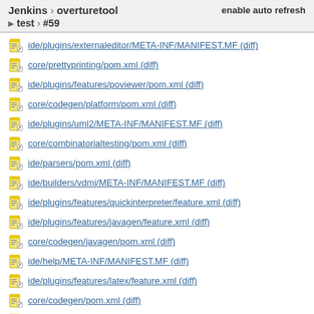Jenkins › overturetool   enable auto refresh   ▶ test › #59
ide/plugins/externaleditor/META-INF/MANIFEST.MF (diff)
core/prettyprinting/pom.xml (diff)
ide/plugins/features/poviewer/pom.xml (diff)
core/codegen/platform/pom.xml (diff)
ide/plugins/uml2/META-INF/MANIFEST.MF (diff)
core/combinatorialtesting/pom.xml (diff)
ide/parsers/pom.xml (diff)
ide/builders/vdmj/META-INF/MANIFEST.MF (diff)
ide/plugins/features/quickinterpreter/feature.xml (diff)
ide/plugins/features/javagen/feature.xml (diff)
core/codegen/javagen/pom.xml (diff)
ide/help/META-INF/MANIFEST.MF (diff)
ide/plugins/features/latex/feature.xml (diff)
core/codegen/pom.xml (diff)